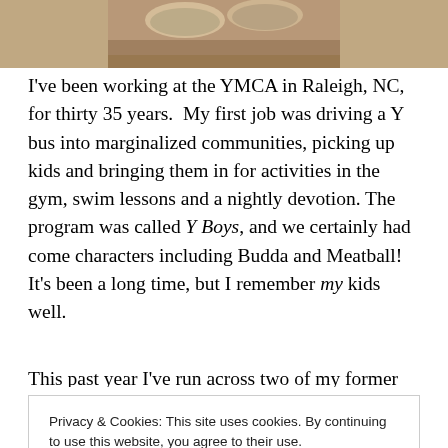[Figure (photo): Partial photograph at the top of the page, cropped to show only the bottom portion]
I've been working at the YMCA in Raleigh, NC, for thirty 35 years.  My first job was driving a Y bus into marginalized communities, picking up kids and bringing them in for activities in the gym, swim lessons and a nightly devotion.  The program was called Y Boys, and we certainly had come characters including Budda and Meatball!  It's been a long time, but I remember my kids well.
This past year I've run across two of my former campers.
Privacy & Cookies: This site uses cookies. By continuing to use this website, you agree to their use.
To find out more, including how to control cookies, see here: Cookie Policy
Her sister has a degree and lives up north.  Two of her